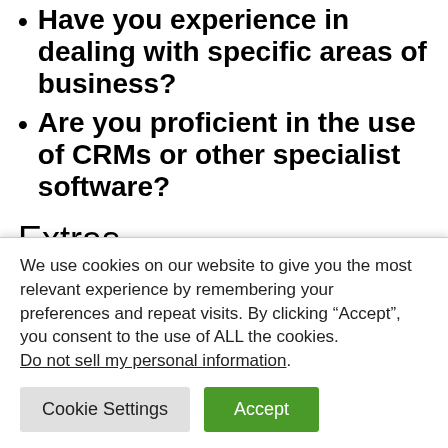Have you experience in dealing with specific areas of business?
Are you proficient in the use of CRMs or other specialist software?
Extras
Prospective employers will do their research on potential employees so it may be worthwhile updating your profile on
We use cookies on our website to give you the most relevant experience by remembering your preferences and repeat visits. By clicking “Accept”, you consent to the use of ALL the cookies. Do not sell my personal information.
Cookie Settings  Accept